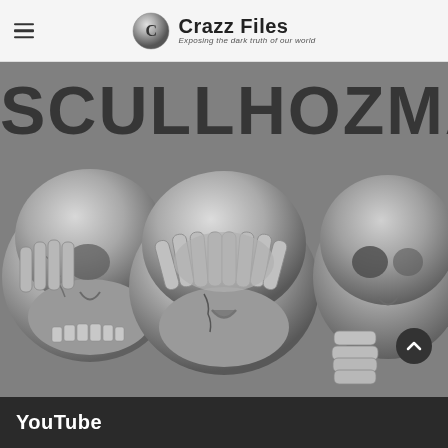Crazz Files — Exposing the dark truth of our world
[Figure (photo): Three metallic silver skull figurines side by side. The left skull has skeletal hands covering its ears, the center skull has skeletal hands covering its eyes, and the right skull has a skeletal hand covering its mouth. Text in the background reads 'SCULLHOZMAN'. The skulls are rendered in a worn pewter or silver metal style.]
YouTube